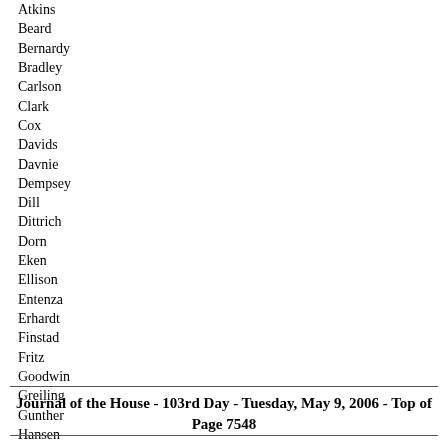Atkins
Beard
Bernardy
Bradley
Carlson
Clark
Cox
Davids
Davnie
Dempsey
Dill
Dittrich
Dorn
Eken
Ellison
Entenza
Erhardt
Finstad
Fritz
Goodwin
Greiling
Gunther
Hansen
Hausman
Haws
Hilstrom
Hilty
Hornstein
Hortman
Hosch
Howes
Huntley
Jaros
Johnson, R.
Journal of the House - 103rd Day - Tuesday, May 9, 2006 - Top of Page 7548